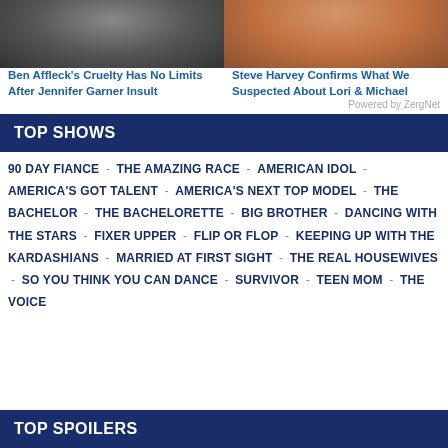[Figure (photo): Two celebrity photos side by side: left shows a man (Ben Affleck), right shows a woman (Lori Harvey or similar)]
Ben Affleck's Cruelty Has No Limits After Jennifer Garner Insult
Steve Harvey Confirms What We Suspected About Lori & Michael
Powered by ZergNet
TOP SHOWS
90 DAY FIANCE - THE AMAZING RACE - AMERICAN IDOL - AMERICA'S GOT TALENT - AMERICA'S NEXT TOP MODEL - THE BACHELOR - THE BACHELORETTE - BIG BROTHER - DANCING WITH THE STARS - FIXER UPPER - FLIP OR FLOP - KEEPING UP WITH THE KARDASHIANS - MARRIED AT FIRST SIGHT - THE REAL HOUSEWIVES - SO YOU THINK YOU CAN DANCE - SURVIVOR - TEEN MOM - THE VOICE
TOP SPOILERS